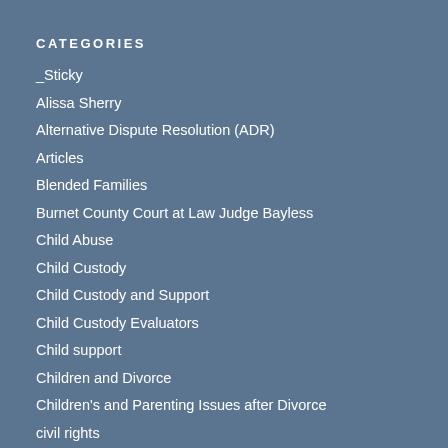CATEGORIES
_Sticky
Alissa Sherry
Alternative Dispute Resolution (ADR)
Articles
Blended Families
Burnet County Court at Law Judge Bayless
Child Abuse
Child Custody
Child Custody and Support
Child Custody Evaluators
Child support
Children and Divorce
Children's and Parenting Issues after Divorce
civil rights